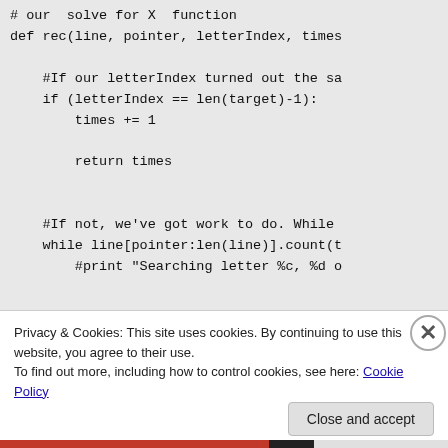[Figure (screenshot): Code snippet in a gray background area showing Python function definition with comments and logic: # our solve for X function, def rec(line, pointer, letterIndex, times, #If our letterIndex turned out the sa, if (letterIndex == len(target)-1):, times += 1, return times, #If not, we've got work to do. While, while line[pointer:len(line)].count(t, #print "Searching letter %c, %d o]
Privacy & Cookies: This site uses cookies. By continuing to use this website, you agree to their use.
To find out more, including how to control cookies, see here: Cookie Policy
Close and accept